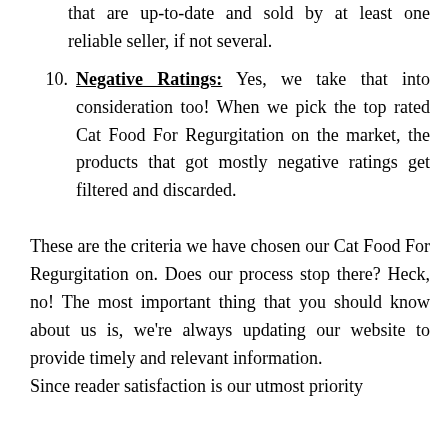that are up-to-date and sold by at least one reliable seller, if not several.
10. Negative Ratings: Yes, we take that into consideration too! When we pick the top rated Cat Food For Regurgitation on the market, the products that got mostly negative ratings get filtered and discarded.
These are the criteria we have chosen our Cat Food For Regurgitation on. Does our process stop there? Heck, no! The most important thing that you should know about us is, we're always updating our website to provide timely and relevant information.
Since reader satisfaction is our utmost priority